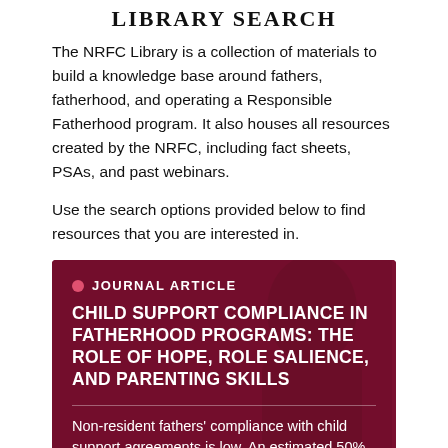LIBRARY SEARCH
The NRFC Library is a collection of materials to build a knowledge base around fathers, fatherhood, and operating a Responsible Fatherhood program. It also houses all resources created by the NRFC, including fact sheets, PSAs, and past webinars.
Use the search options provided below to find resources that you are interested in.
JOURNAL ARTICLE
CHILD SUPPORT COMPLIANCE IN FATHERHOOD PROGRAMS: THE ROLE OF HOPE, ROLE SALIENCE, AND PARENTING SKILLS
Non-resident fathers' compliance with child support agreements is low. An estimated 50% of fathers